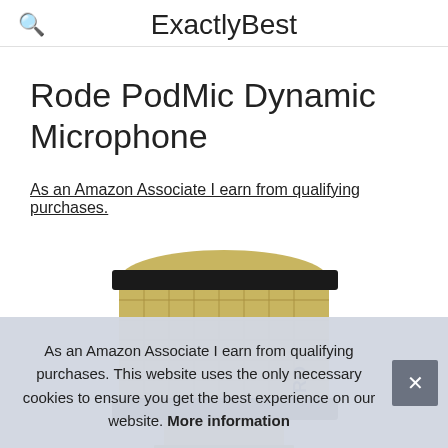ExactlyBest
Rode PodMic Dynamic Microphone
As an Amazon Associate I earn from qualifying purchases.
[Figure (photo): Close-up photo of a Rode PodMic dynamic microphone head with gold mesh grille and black ring, with 'RO' branding visible]
As an Amazon Associate I earn from qualifying purchases. This website uses the only necessary cookies to ensure you get the best experience on our website. More information